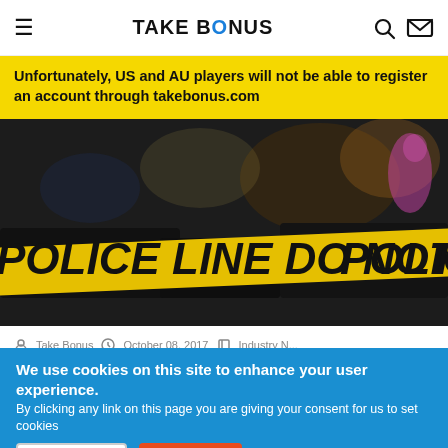TAKE BONUS
Unfortunately, US and AU players will not be able to register an account through takebonus.com
[Figure (photo): Police crime scene tape reading 'POLICE LINE DO NOT CROSS POLICE' in yellow and black, against a dark nighttime background with blurred lights]
We use cookies on this site to enhance your user experience. By clicking any link on this page you are giving your consent for us to set cookies
More Info
Accept